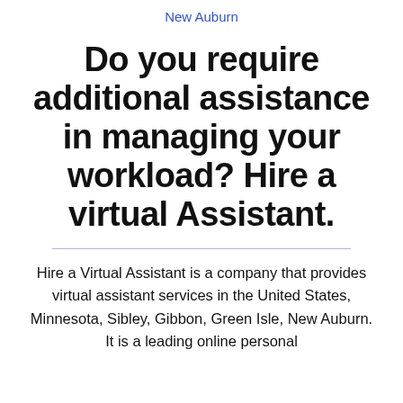New Auburn
Do you require additional assistance in managing your workload? Hire a virtual Assistant.
Hire a Virtual Assistant is a company that provides virtual assistant services in the United States, Minnesota, Sibley, Gibbon, Green Isle, New Auburn. It is a leading online personal